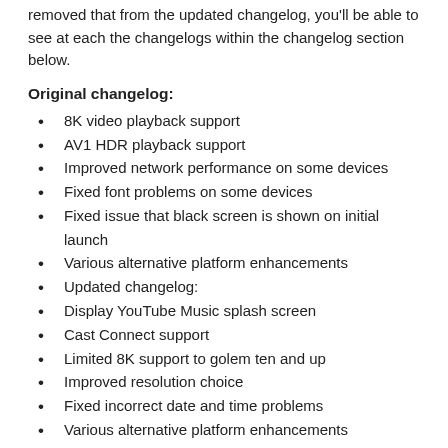removed that from the updated changelog, you'll be able to see at each the changelogs within the changelog section below.
Original changelog:
8K video playback support
AV1 HDR playback support
Improved network performance on some devices
Fixed font problems on some devices
Fixed issue that black screen is shown on initial launch
Various alternative platform enhancements
Updated changelog:
Display YouTube Music splash screen
Cast Connect support
Limited 8K support to golem ten and up
Improved resolution choice
Fixed incorrect date and time problems
Various alternative platform enhancements
In case you want to do out 8K video streaming on your TV, you'll be able to attempt sideloading the most recent update from APKMirror. However, there's no guarantee that you'll be able to watch 8K content on your TV as it's presently restricted